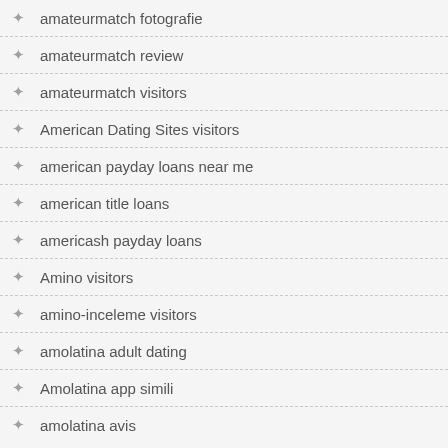amateurmatch fotografie
amateurmatch review
amateurmatch visitors
American Dating Sites visitors
american payday loans near me
american title loans
americash payday loans
Amino visitors
amino-inceleme visitors
amolatina adult dating
Amolatina app simili
amolatina avis